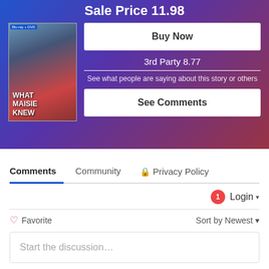Sale Price 11.98
[Figure (photo): Movie cover for 'What Maisie Knew' Blu-ray + DVD]
Buy Now
3rd Party 8.77
See what people are saying about this story or others
See Comments
Comments  Community  🔒 Privacy Policy
1  Login ▾
♡ Favorite
Sort by Newest ▾
Start the discussion…